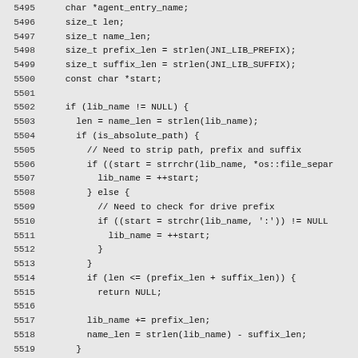[Figure (other): Source code listing in C++, lines 5495-5525, showing string manipulation logic for agent entry name construction involving JNI library prefix/suffix handling.]